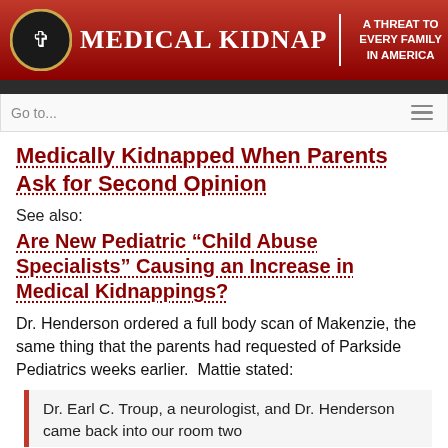MEDICAL KIDNAP | A THREAT TO EVERY FAMILY IN AMERICA
Medically Kidnapped When Parents Ask for Second Opinion
See also:
Are New Pediatric “Child Abuse Specialists” Causing an Increase in Medical Kidnappings?
Dr. Henderson ordered a full body scan of Makenzie, the same thing that the parents had requested of Parkside Pediatrics weeks earlier.  Mattie stated:
Dr. Earl C. Troup, a neurologist, and Dr. Henderson came back into our room two